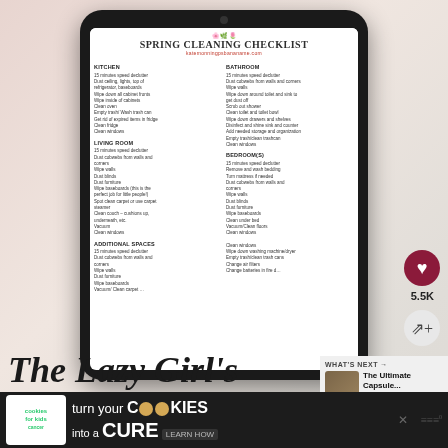[Figure (screenshot): A tablet device displaying a Spring Cleaning Checklist with sections for Kitchen, Bathroom, Living Room, Bedroom(s), and Additional Spaces. The tablet is shown on a marble surface with a pink notebook and pen. Social media UI elements visible including a heart button showing 5.5K likes and a share button.]
The Lazy Girl's
WHAT'S NEXT → The Ultimate Capsule...
SPRING CLEANING
turn your COOKIES into a CURE LEARN HOW